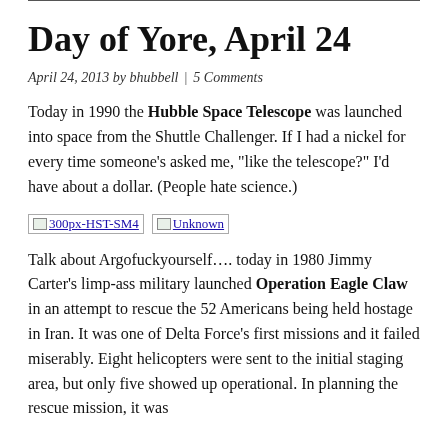Day of Yore, April 24
April 24, 2013 by bhubbell | 5 Comments
Today in 1990 the Hubble Space Telescope was launched into space from the Shuttle Challenger. If I had a nickel for every time someone's asked me, “like the telescope?” I’d have about a dollar. (People hate science.)
[Figure (photo): Two image placeholders: 300px-HST-SM4 and Unknown]
Talk about Argofuckyourself…. today in 1980 Jimmy Carter’s limp-ass military launched Operation Eagle Claw in an attempt to rescue the 52 Americans being held hostage in Iran. It was one of Delta Force’s first missions and it failed miserably. Eight helicopters were sent to the initial staging area, but only five showed up operational. In planning the rescue mission, it was